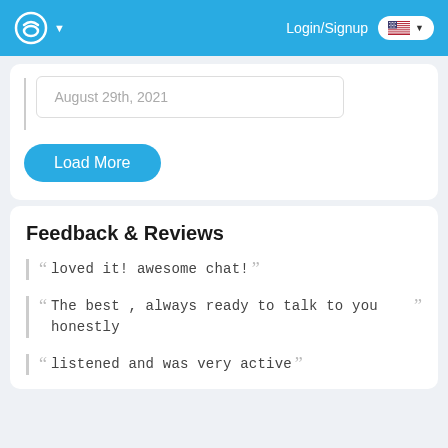Login/Signup
August 29th, 2021
Load More
Feedback & Reviews
loved it! awesome chat!
The best , always ready to talk to you honestly
listened and was very active